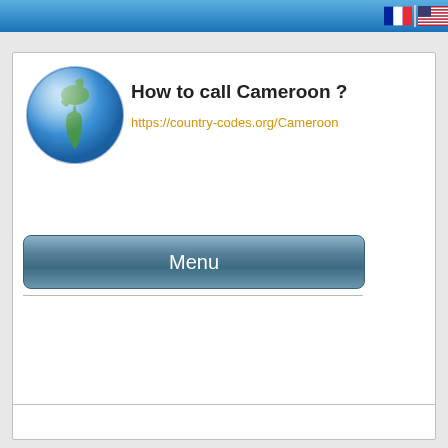How to call Cameroon?
[Figure (screenshot): Globe illustration showing Earth from European/African perspective]
How to call Cameroon ?
https://country-codes.org/Cameroon
Menu